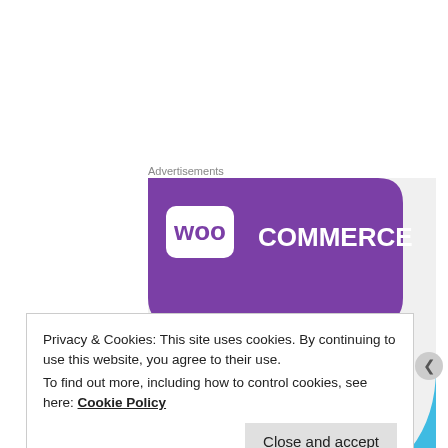Advertisements
[Figure (screenshot): WooCommerce advertisement banner showing the WooCommerce logo on a purple speech-bubble background with teal and blue geometric accent shapes, and bold text reading 'How to start selling subscriptions online' on a light grey background.]
Privacy & Cookies: This site uses cookies. By continuing to use this website, you agree to their use.
To find out more, including how to control cookies, see here: Cookie Policy
Close and accept